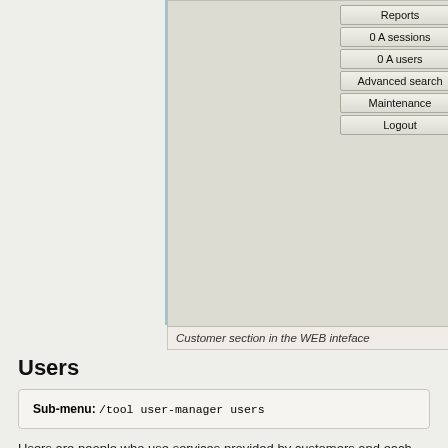[Figure (screenshot): Cropped screenshot of a web administration interface showing a navigation sidebar with buttons (Reports, 0 A sessions, 0 A users, Advanced search, Maintenance, Logout) and a form on the right with fields: Parent: admin, Permissions: Read o[nly], Public ID, Public host, Backup allowed checkbox, Access section, Private information section (Company, City, Country, Email fields), Signup options section (Signup allowed checkbox), Format section (Currency field, Time zone: +00:00)]
Customer section in the WEB inteface
Users
Sub-menu: /tool user-manager users
Users are people who use services provided by customers and each user can have time,